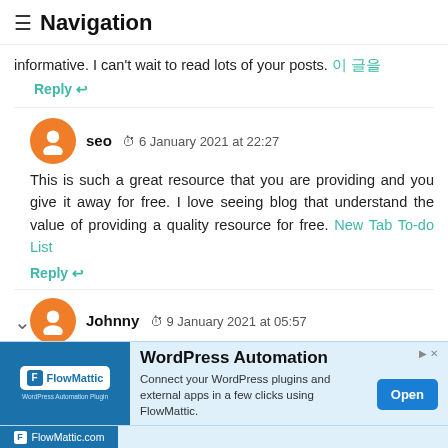≡ Navigation
informative. I can't wait to read lots of your posts. 이 글을
Reply ↩
seo  ⏱ 6 January 2021 at 22:27
This is such a great resource that you are providing and you give it away for free. I love seeing blog that understand the value of providing a quality resource for free. New Tab To-do List
Reply ↩
Johnny  ⏱ 9 January 2021 at 05:57
I just found this blog and have high hopes for it to continue. Keep up the great work, its hard to find good ones. I added to my favorites. Thank You. Webdesign Antwerpen
[Figure (screenshot): FlowMattic WordPress Automation advertisement banner with blue background, FlowMattic logo, title 'WordPress Automation', description text, and 'Open' button]